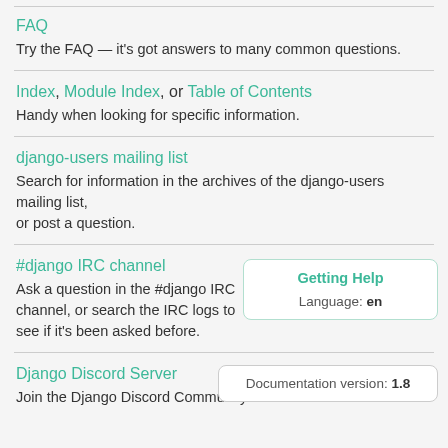FAQ
Try the FAQ — it's got answers to many common questions.
Index, Module Index, or Table of Contents
Handy when looking for specific information.
django-users mailing list
Search for information in the archives of the django-users mailing list, or post a question.
#django IRC channel
Ask a question in the #django IRC channel, or search the IRC logs to see if it's been asked before.
Getting Help
Language: en
Django Discord Server
Join the Django Discord Community.
Documentation version: 1.8